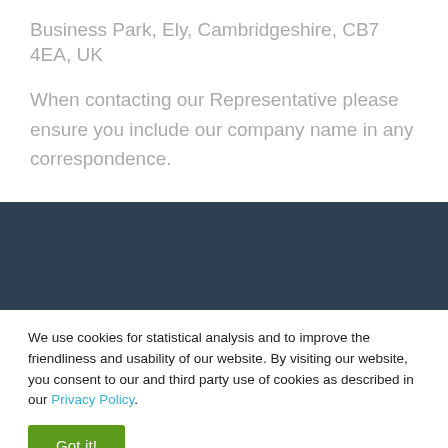Business Park, Ely, Cambridgeshire, CB7 4EA, UK
When contacting our Representative please ensure you include our company name in any correspondence.
[Figure (other): Dark navy/teal banner bar spanning full width]
We use cookies for statistical analysis and to improve the friendliness and usability of our website. By visiting our website, you consent to our and third party use of cookies as described in our Privacy Policy.
Got it!